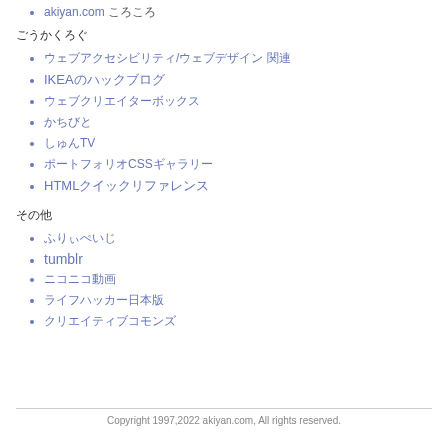akiyan.com ころころ
ごうかくろぐ
ウェブアクセシビリティ/ウェブデザイン 関連
IKEAのハックブログ
ウェブクリエイターボックス
かちびと
しゅんTV
ポートフォリオCSSギャラリー
HTMLクイックリファレンス
その他
ふりぃぺいじ
tumblr
ニコニコ動画
ライフハッカー日本版
クリエイティブコモンズ
Copyright 1997,2022 akiyan.com, All rights reserved.